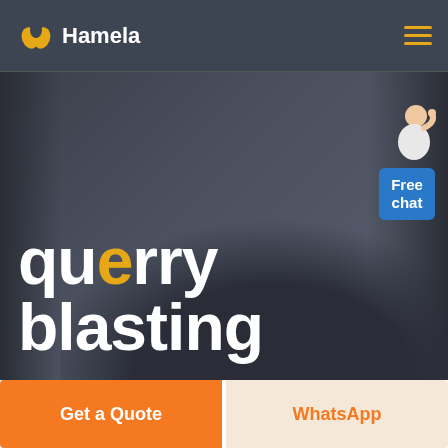Hamela
[Figure (screenshot): Hero background with dark curtain-like backdrop and silhouette of a person, with large bold text 'querry blasting' and a Free chat widget in the top right.]
querry blasting
Free chat
Get a Quote
WhatsApp